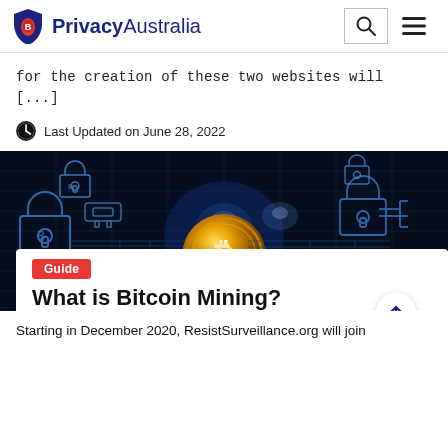PrivacyAustralia
for the creation of these two websites will [...]
Last Updated on June 28, 2022
[Figure (photo): Bitcoin coin with glowing circuit board and padlock icons on dark blue background]
Guide
What is Bitcoin Mining?
Starting in December 2020, ResistSurveillance.org will join